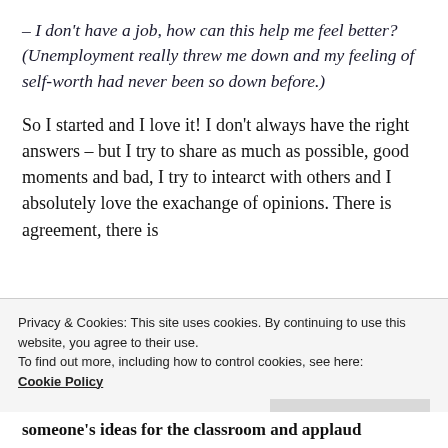– I don't have a job, how can this help me feel better? (Unemployment really threw me down and my feeling of self-worth had never been so down before.)
So I started and I love it! I don't always have the right answers – but I try to share as much as possible, good moments and bad, I try to intearct with others and I absolutely love the exachange of opinions. There is agreement, there is
Privacy & Cookies: This site uses cookies. By continuing to use this website, you agree to their use. To find out more, including how to control cookies, see here: Cookie Policy
someone's ideas for the classroom and applaud